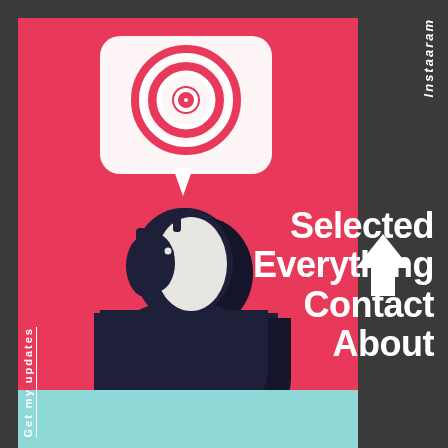[Figure (illustration): Flat style illustration on a red/pink background showing a stylized human figure (dark navy silhouette) with head turned, a speech bubble containing a bullseye/target icon above the head, on a coral/red background.]
Instagram
[Figure (illustration): White upward-pointing arrow icon]
Selected
Everything
Contact
About
Get my updates